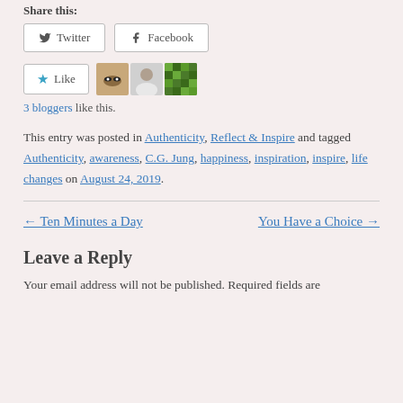Share this:
Twitter   Facebook
Like  [avatar images]  3 bloggers like this.
This entry was posted in Authenticity, Reflect & Inspire and tagged Authenticity, awareness, C.G. Jung, happiness, inspiration, inspire, life changes on August 24, 2019.
← Ten Minutes a Day    You Have a Choice →
Leave a Reply
Your email address will not be published. Required fields are